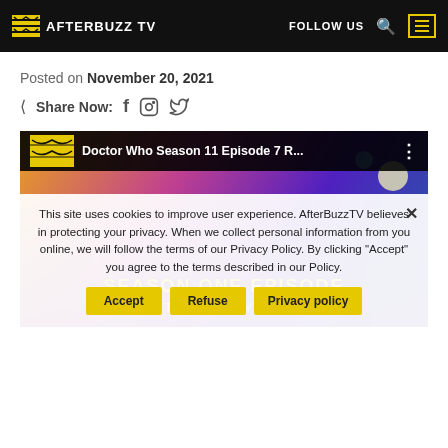AFTERBUZZ TV | FOLLOW US
Posted on November 20, 2021
Share Now: f (Facebook) (Instagram) (Twitter)
[Figure (screenshot): Video thumbnail for Doctor Who Season 11 Episode 7 R... with colorful sci-fi poster background showing cast members]
This site uses cookies to improve user experience. AfterBuzzTV believes in protecting your privacy. When we collect personal information from you online, we will follow the terms of our Privacy Policy. By clicking "Accept" you agree to the terms described in our Policy.
Accept | Refuse | Privacy policy